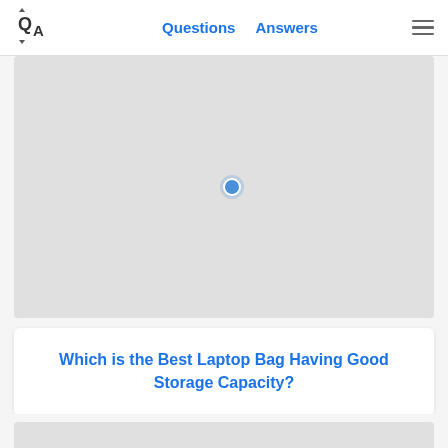QA | Questions  Answers
[Figure (map): A gray map placeholder with a blue location marker dot near the center.]
Which is the Best Laptop Bag Having Good Storage Capacity?
[Figure (other): Gray placeholder block at the bottom of the page.]